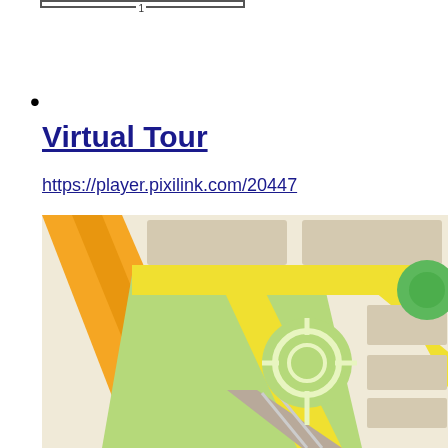•
Virtual Tour
https://player.pixilink.com/20447
[Figure (map): A map view showing streets, a roundabout intersection, green areas, yellow roads, orange highway, and beige city blocks.]